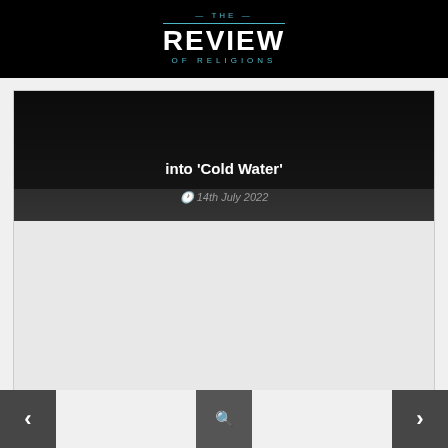THE REVIEW OF RELIGIONS
[Figure (screenshot): Article card with dark background showing partial title text ending in 'into Cold Water' with date 14th July 2022]
[Figure (screenshot): Article card with gray/silver background, broken image icon in top left, blue badge labeled UNTOLD STORIES, and title beginning 'Untold Stories – Lord,']